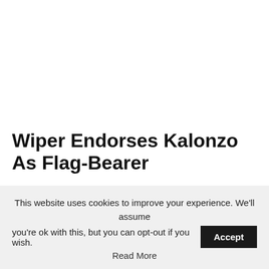Wiper Endorses Kalonzo As Flag-Bearer
This website uses cookies to improve your experience. We'll assume you're ok with this, but you can opt-out if you wish.
Accept
Read More